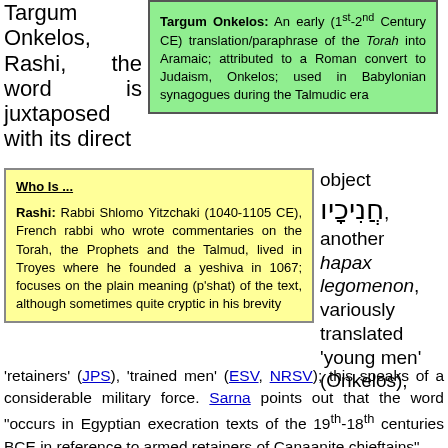Targum Onkelos, Rashi, the word is juxtaposed with its direct
Targum Onkelos: An early (1st-2nd Century CE) translation/paraphrase of the Torah into Aramaic; attributed to a Roman convert to Judaism, Onkelos; used in Babylonian synagogues during the Talmudic era
Who Is ...
Rashi: Rabbi Shlomo Yitzchaki (1040-1105 CE), French rabbi who wrote commentaries on the Torah, the Prophets and the Talmud, lived in Troyes where he founded a yeshiva in 1067; focuses on the plain meaning (p'shat) of the text, although sometimes quite cryptic in his brevity
object חֲנִיכָיו, another hapax legomenon, variously translated 'young men' (Onkelos), 'retainers' (JPS), 'trained men' (ESV, NRSV); this speaks of a considerable military force. Sarna points out that the word "occurs in Egyptian execration texts of the 19th-18th centuries BCE in reference to armed retainers of Canaanite chieftains".